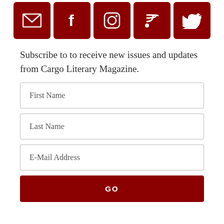[Figure (infographic): Row of five dark red square icons: email/envelope, Facebook f, Instagram camera, RSS feed, Twitter bird]
Subscribe to to receive new issues and updates from Cargo Literary Magazine.
First Name
Last Name
E-Mail Address
GO